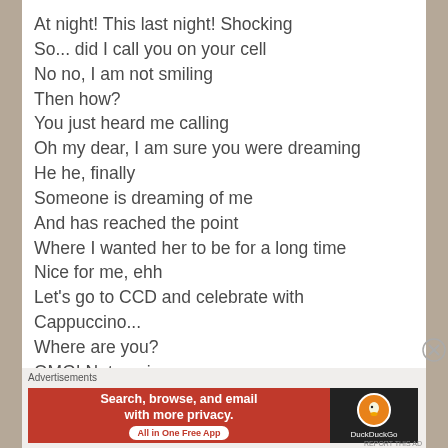At night! This last night! Shocking
So... did I call you on your cell
No no, I am not smiling
Then how?
You just heard me calling
Oh my dear, I am sure you were dreaming
He he, finally
Someone is dreaming of me
And has reached the point
Where I wanted her to be for a long time
Nice for me, ehh
Let's go to CCD and celebrate with Cappuccino...
Where are you?
OMG! Not again
[Figure (infographic): Advertisement banner for DuckDuckGo app: orange/red background with text 'Search, browse, and email with more privacy. All in One Free App' and DuckDuckGo logo on dark background]
Advertisements
REPORT THIS AD